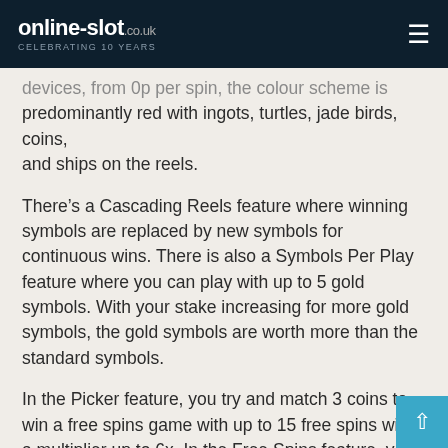online-slot.co.uk — CELEBRATING 10 YEARS
devices, from 0p per spin, the colour scheme is predominantly red with ingots, turtles, jade birds, coins, and ships on the reels.
There's a Cascading Reels feature where winning symbols are replaced by new symbols for continuous wins. There is also a Symbols Per Play feature where you can play with up to 5 gold symbols. With your stake increasing for more gold symbols, the gold symbols are worth more than the standard symbols.
In the Picker feature, you try and match 3 coins to win a free spins game with up to 15 free spins with a multiplier up to 6x. In the Free Spins feature, you can begin with up to 12 free spins – with more free spins to be won, the Unlimited Win Multiplier feature applies which means each win increases the multiplier, with no